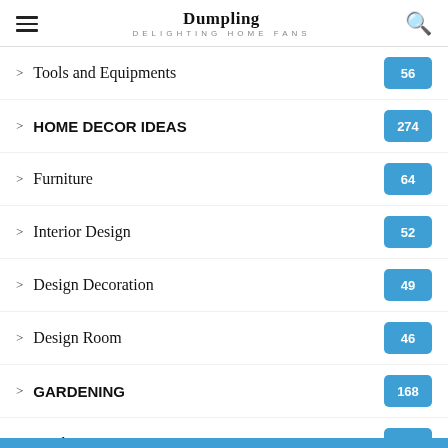Dumpling — DELIGHTING HOME FANS
Tools and Equipments — 56
HOME DECOR IDEAS — 274
Furniture — 64
Interior Design — 52
Design Decoration — 49
Design Room — 46
GARDENING — 168
Garden Design — 60
Backyard Garden — 53
HOME IMPROVEMENT — 251
Home improvement Magazines — ^
Swimming pool Design — 53